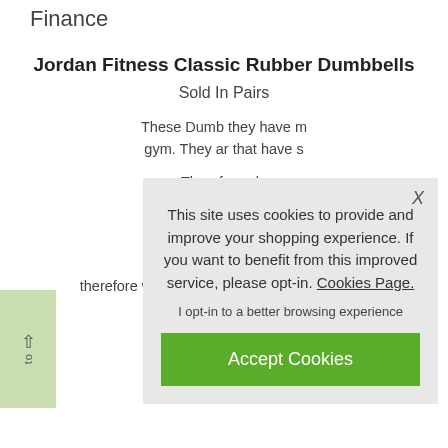Finance
Jordan Fitness Classic Rubber Dumbbells
Sold In Pairs
These Dumb… they have m… gym. They ar… that have s…
Therefore ple… will feature so…
All our used… commercia… therefore will have signs of usage as would b…
[Figure (screenshot): Cookie consent popup overlay with text: 'This site uses cookies to provide and improve your shopping experience. If you want to benefit from this improved service, please opt-in. Cookies Page.' with opt-in link and 'Accept Cookies' green button.]